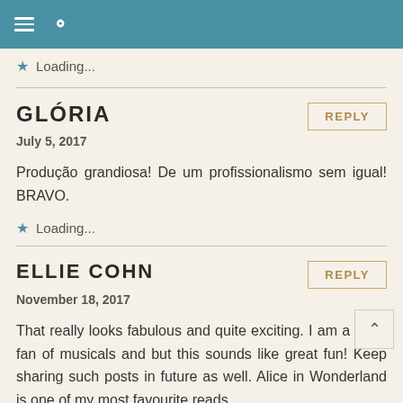Loading...
GLÓRIA
July 5, 2017
Produção grandiosa! De um profissionalismo sem igual! BRAVO.
Loading...
ELLIE COHN
November 18, 2017
That really looks fabulous and quite exciting. I am a huge fan of musicals and but this sounds like great fun! Keep sharing such posts in future as well. Alice in Wonderland is one of my most favourite reads.